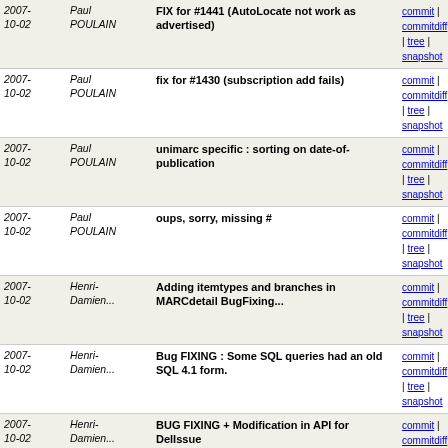| Date | Author | Message | Links |
| --- | --- | --- | --- |
| 2007-10-02 | Paul POULAIN | FIX for #1441 (AutoLocate not work as advertised) | commit | commitdiff | tree | snapshot |
| 2007-10-02 | Paul POULAIN | fix for #1430 (subscription add fails) | commit | commitdiff | tree | snapshot |
| 2007-10-02 | Paul POULAIN | unimarc specific : sorting on date-of-publication | commit | commitdiff | tree | snapshot |
| 2007-10-02 | Paul POULAIN | oups, sorry, missing # | commit | commitdiff | tree | snapshot |
| 2007-10-02 | Henri-Damien... | Adding itemtypes and branches in MARCdetail BugFixing... | commit | commitdiff | tree | snapshot |
| 2007-10-02 | Henri-Damien... | Bug FIXING : Some SQL queries had an old SQL 4.1 form. | commit | commitdiff | tree | snapshot |
| 2007-10-02 | Henri-Damien... | BUG FIXING + Modification in API for DelIssue | commit | commitdiff | tree | snapshot |
| 2007-10-02 | Henri-Damien... | filefind.png. Why not having the same architecture... | commit | commitdiff | tree | snapshot |
| 2007-10-02 | Henri-Damien... | Bug Fixing : page changes were broken for unimarcfield_... | commit | commitdiff | tree | snapshot |
| 2007-10-02 | Paul POULAIN | some cleaning in Auth | commit | commitdiff | tree | snapshot |
| 2007- | Paul | removing un-open TMPL_IF | commit |